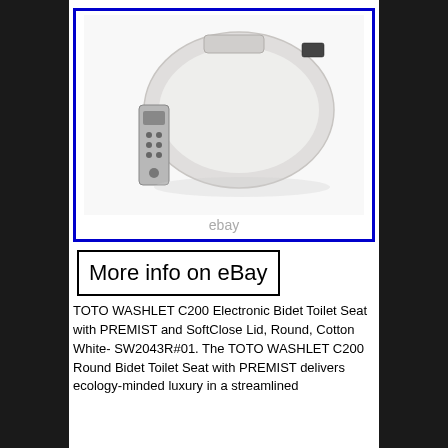[Figure (photo): TOTO WASHLET C200 Electronic Bidet Toilet Seat shown from above with a small remote control to the left, displayed against white background inside a blue-bordered box with 'ebay' watermark]
More info on eBay
TOTO WASHLET C200 Electronic Bidet Toilet Seat with PREMIST and SoftClose Lid, Round, Cotton White- SW2043R#01. The TOTO WASHLET C200 Round Bidet Toilet Seat with PREMIST delivers ecology-minded luxury in a streamlined